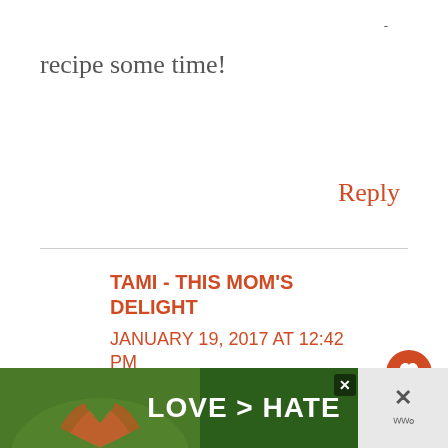-
recipe some time!
Reply
TAMI - THIS MOM'S DELIGHT
JANUARY 19, 2017 AT 12:42 PM
My little guy would enjoy these
[Figure (infographic): Advertisement banner with hands forming heart shape, text LOVE > HATE on green background with close button and weatherbug logo on right]